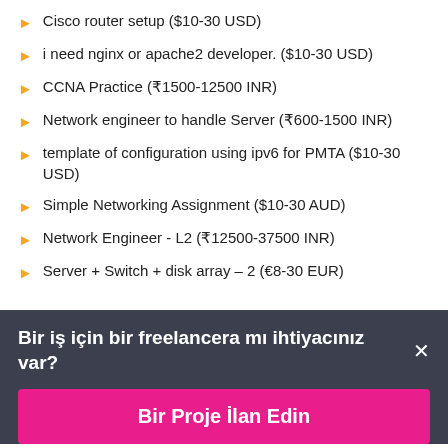Cisco router setup ($10-30 USD)
i need nginx or apache2 developer. ($10-30 USD)
CCNA Practice (₹1500-12500 INR)
Network engineer to handle Server (₹600-1500 INR)
template of configuration using ipv6 for PMTA ($10-30 USD)
Simple Networking Assignment ($10-30 AUD)
Network Engineer - L2 (₹12500-37500 INR)
Server + Switch + disk array – 2 (€8-30 EUR)
Bir iş için bir freelancera mı ihtiyacınız var? ×
Bir Proje İlan Edin